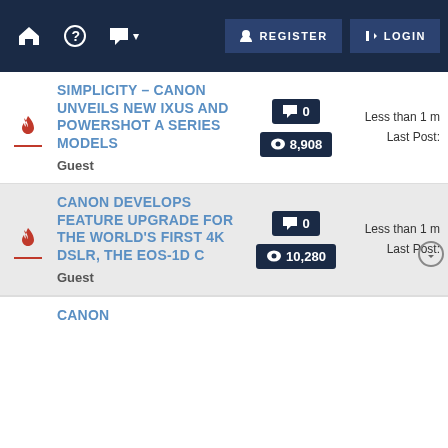Register | Login — navigation bar with home, help, chat icons
SIMPLICITY – CANON UNVEILS NEW IXUS AND POWERSHOT A SERIES MODELS | Guest | 0 comments | 8,908 views | Less than 1 m | Last Post:
CANON DEVELOPS FEATURE UPGRADE FOR THE WORLD'S FIRST 4K DSLR, THE EOS-1D C | Guest | 0 comments | 10,280 views | Less than 1 m | Last Post:
CANON